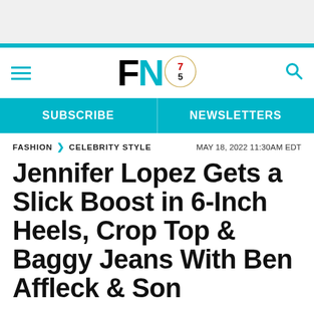[Figure (logo): Footwear News (FN) logo with 75th anniversary badge, black F, teal N, red/black 75 numeral in circular badge]
SUBSCRIBE   NEWSLETTERS
FASHION › CELEBRITY STYLE   MAY 18, 2022 11:30AM EDT
Jennifer Lopez Gets a Slick Boost in 6-Inch Heels, Crop Top & Baggy Jeans With Ben Affleck & Son